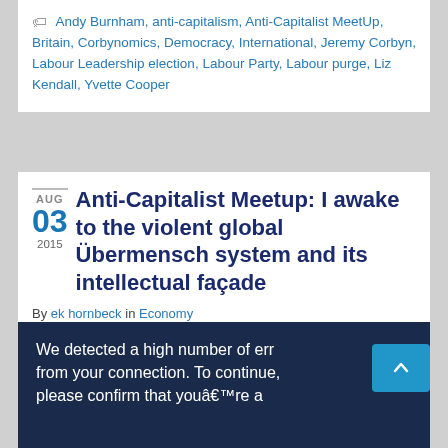Andy Burnham, anti-capitalism, Anti-Capitalist MeetUp, Britain, Corbynomics, Democracy, International, Jeremy Corbyn, Labour Leadership election, Labour Party, Labour purge, Liz Kendall, Yvette Cooper
Anti-Capitalist Meetup: I awake to the violent global Übermensch system and its intellectual façade
By ek hornbeck in Economy
Tweet
By Galtisalie
We detected a high number of errors from your connection. To continue, please confirm that you're a